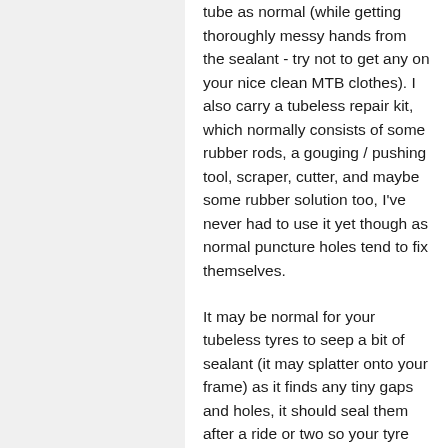tube as normal (while getting thoroughly messy hands from the sealant - try not to get any on your nice clean MTB clothes). I also carry a tubeless repair kit, which normally consists of some rubber rods, a gouging / pushing tool, scraper, cutter, and maybe some rubber solution too, I've never had to use it yet though as normal puncture holes tend to fix themselves.
It may be normal for your tubeless tyres to seep a bit of sealant (it may splatter onto your frame) as it finds any tiny gaps and holes, it should seal them after a ride or two so your tyre pressures should then remain stable (around 15 - 20psi for 2.3 width, 10 - 15psi for 2.8/3.0 width). I have some Specialized "tubeless ready" tyres that have thin sidewalls, they just wouldn't seal at all - the sealant kept seeping out through the walls where the canvas